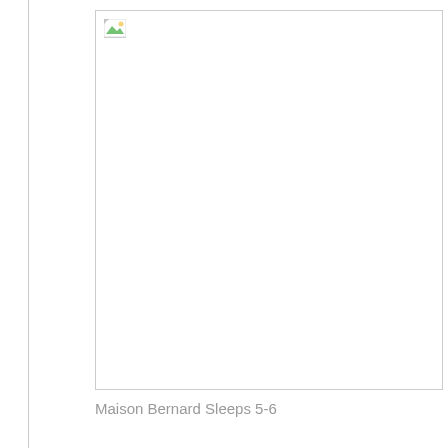[Figure (photo): A large image placeholder with a broken image icon in the top-left corner. The image failed to load, showing a small broken image placeholder icon.]
Maison Bernard Sleeps 5-6